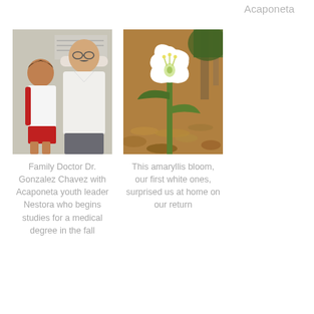Acaponeta
[Figure (photo): Two people standing together — a young woman and an older man in a white shirt, posing for a photo indoors]
[Figure (photo): A white amaryllis flower blooming outdoors among dry leaves and trees]
Family Doctor Dr. Gonzalez Chavez with Acaponeta youth leader Nestora who begins studies for a medical degree in the fall
This amaryllis bloom, our first white ones, surprised us at home on our return